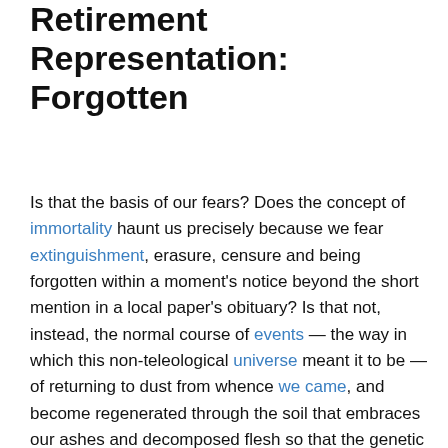Retirement Representation: Forgotten
Is that the basis of our fears?  Does the concept of immortality haunt us precisely because we fear extinguishment, erasure, censure and being forgotten within a moment's notice beyond the short mention in a local paper's obituary?  Is that not, instead, the normal course of events — the way in which this non-teleological universe meant it to be — of returning to dust from whence we came, and become regenerated through the soil that embraces our ashes and decomposed flesh so that the genetic materials become recycled by the very foods we digest?
Mortality is that which men fear; becoming immortal is the